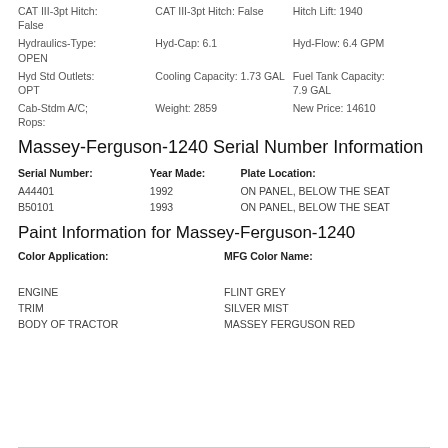CAT III-3pt Hitch: False  |  CAT III-3pt Hitch: False  |  Hitch Lift: 1940
Hydraulics-Type: OPEN  |  Hyd-Cap: 6.1  |  Hyd-Flow: 6.4 GPM
Hyd Std Outlets: OPT  |  Cooling Capacity: 1.73 GAL  |  Fuel Tank Capacity: 7.9 GAL
Cab-Stdm A/C; Rops:  |  Weight: 2859  |  New Price: 14610
Massey-Ferguson-1240 Serial Number Information
| Serial Number: | Year Made: | Plate Location: |
| --- | --- | --- |
| A44401 | 1992 | ON PANEL, BELOW THE SEAT |
| B50101 | 1993 | ON PANEL, BELOW THE SEAT |
Paint Information for Massey-Ferguson-1240
| Color Application: | MFG Color Name: |
| --- | --- |
| ENGINE | FLINT GREY |
| TRIM | SILVER MIST |
| BODY OF TRACTOR | MASSEY FERGUSON RED |